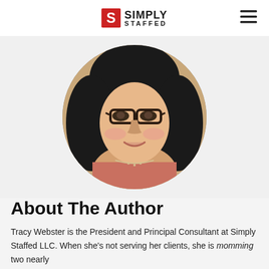SIMPLY STAFFED
[Figure (photo): Circular portrait photo of a woman with dark hair, glasses, and a smile, wearing a necklace]
About The Author
Tracy Webster is the President and Principal Consultant at Simply Staffed LLC. When she's not serving her clients, she is momming two nearly